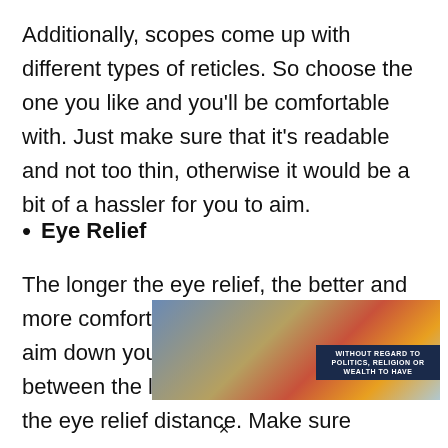Additionally, scopes come up with different types of reticles. So choose the one you like and you'll be comfortable with. Just make sure that it's readable and not too thin, otherwise it would be a bit of a hassler for you to aim.
Eye Relief
The longer the eye relief, the better and more comfortable you will be while you aim down your sights. The distance between the last eyepiece and the eye is the eye relief distance. Make sure
[Figure (photo): Advertisement banner showing an airplane being loaded with cargo. Text overlay reads 'WITHOUT REGARD TO POLITICS, RELIGION OR WEALTH TO HAVE'.]
×